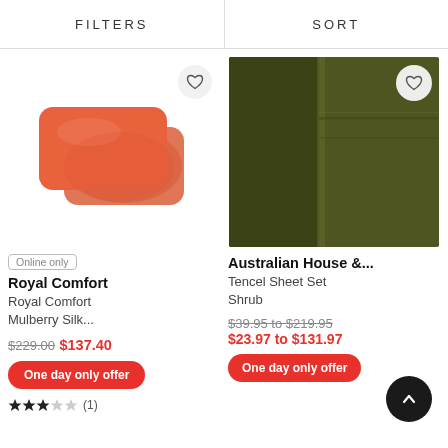FILTERS   SORT
[Figure (photo): Two orange/coral satin pillowcases overlapping on white background]
[Figure (photo): Close-up of dark olive/army green tencel sheet set fabric]
Online only
Royal Comfort
Royal Comfort Mulberry Silk...
$229.00 $137.40
One day only offer
★★★☆☆ (1)
Australian House &...
Tencel Sheet Set Shrub
$39.95 to $219.95
$23.97 to $131.97
One day only offer